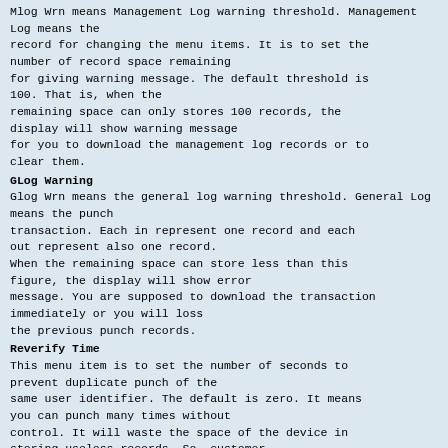Mlog Wrn means Management Log warning threshold. Management Log means the record for changing the menu items. It is to set the number of record space remaining for giving warning message. The default threshold is 100. That is, when the remaining space can only stores 100 records, the display will show warning message for you to download the management log records or to clear them.
GLog Warning
Glog Wrn means the general log warning threshold. General Log means the punch transaction. Each in represent one record and each out represent also one record. When the remaining space can store less than this figure, the display will show error message. You are supposed to download the transaction immediately or you will loss the previous punch records.
Reverify Time
This menu item is to set the number of seconds to prevent duplicate punch of the same user identifier. The default is zero. It means you can punch many times without control. It will waste the space of the device in storing useless records. So, customer can set this figure to a number of seconds. The maximum number of seconds allowed to be set is 255 seconds.
Comm Setting
The communication setting is mainly for management of